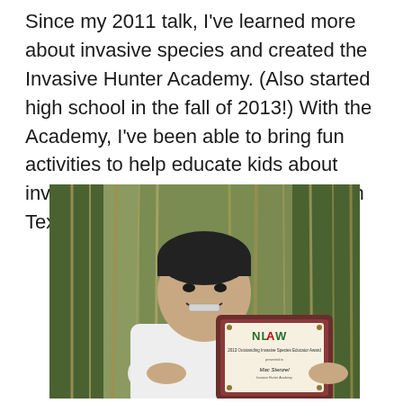Since my 2011 talk, I've learned more about invasive species and created the Invasive Hunter Academy. (Also started high school in the fall of 2013!) With the Academy, I've been able to bring fun activities to help educate kids about invasive species at in-person events in Texas and across the country.
[Figure (photo): A smiling teenage boy wearing a white martial arts uniform holding a framed NLIAW 2013 Outstanding Invasive Species Educator Award plaque, standing in front of tall green and brown reeds/bamboo.]